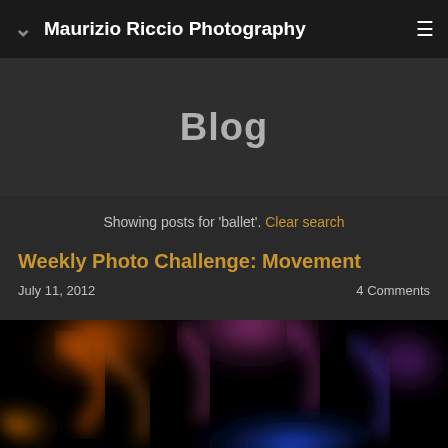Maurizio Riccio Photography
Blog
Showing posts for 'ballet'. Clear search
Weekly Photo Challenge: Movement
July 11, 2012   4 Comments
[Figure (photo): Blurry long-exposure photo of ballet dancers in motion with orange, pink, and blue light trails against a black background]